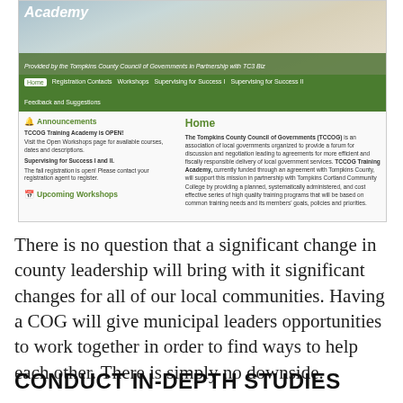[Figure (screenshot): Screenshot of TCCOG Training Academy website showing banner, navigation bar, Announcements section, Home section, and Upcoming Workshops heading.]
There is no question that a significant change in county leadership will bring with it significant changes for all of our local communities. Having a COG will give municipal leaders opportunities to work together in order to find ways to help each other. There is simply no downside.
CONDUCT IN-DEPTH STUDIES